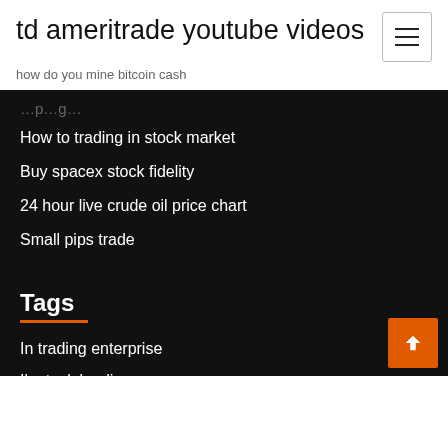td ameritrade youtube videos
how do you mine bitcoin cash
…p…g…
How to trading in stock market
Buy spacex stock fidelity
24 hour live crude oil price chart
Small pips trade
Tags
In trading enterprise
Ib stock lending program
Etrade cash promotions